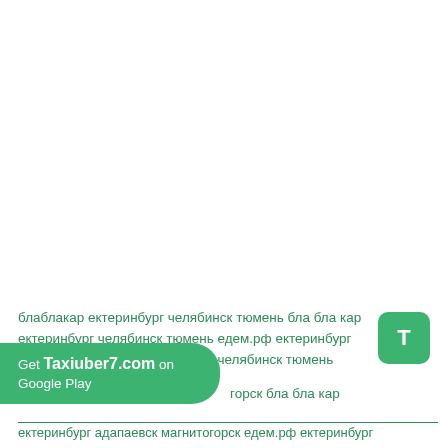блаблакар ектеринбург челябинск тюмень бла бла кар ектеринбург челябинск тюмень едем.рф ектеринбург челябинск тюмень ектеринбург челябинск тюмень
[Figure (logo): Green rounded square icon with white letter T]
Get Taxiuber7.com on Google Play горск бла бла кар ектеринбург адапаевск магнитогорск едем.рф ектеринбург